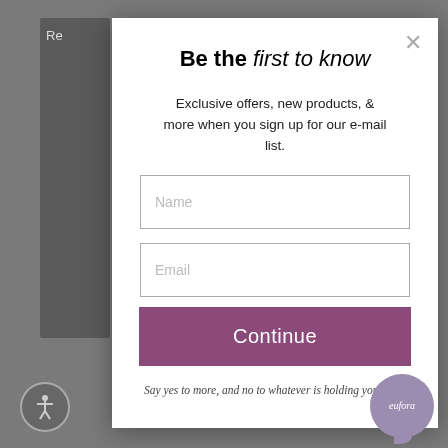Be the first to know
Exclusive offers, new products, & more when you sign up for our e-mail list.
Name
Email
Continue
Say yes to more, and no to whatever is holding you back.